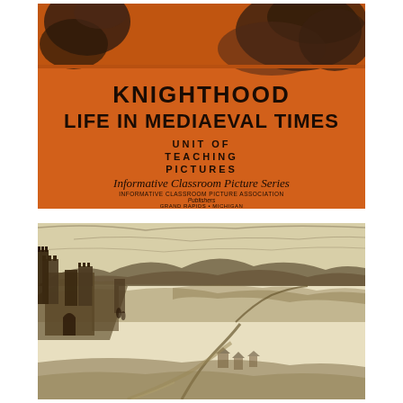[Figure (illustration): Orange book cover with dark illustration at top showing swirling/cloudy background imagery. Title reads KNIGHTHOOD LIFE IN MEDIAEVAL TIMES, subtitle UNIT OF TEACHING PICTURES, series name Informative Classroom Picture Series, publisher INFORMATIVE CLASSROOM PICTURE ASSOCIATION Publishers GRAND RAPIDS - MICHIGAN]
[Figure (illustration): Black and white pen-and-ink illustration of a medieval castle on a hilltop with surrounding countryside, fields, roads, and small settlement visible in aerial/elevated perspective view on cream/beige background]